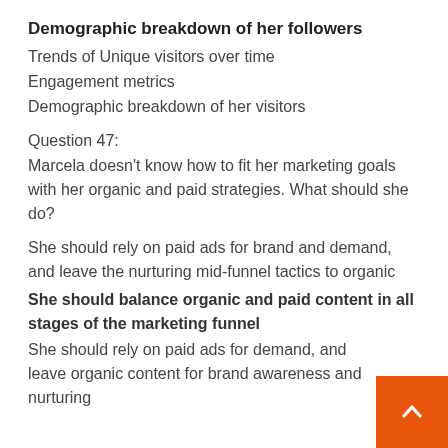Demographic breakdown of her followers
Trends of Unique visitors over time
Engagement metrics
Demographic breakdown of her visitors
Question 47:
Marcela doesn't know how to fit her marketing goals with her organic and paid strategies. What should she do?
She should rely on paid ads for brand and demand, and leave the nurturing mid-funnel tactics to organic
She should balance organic and paid content in all stages of the marketing funnel
She should rely on paid ads for demand, and leave organic content for brand awareness and nurturing